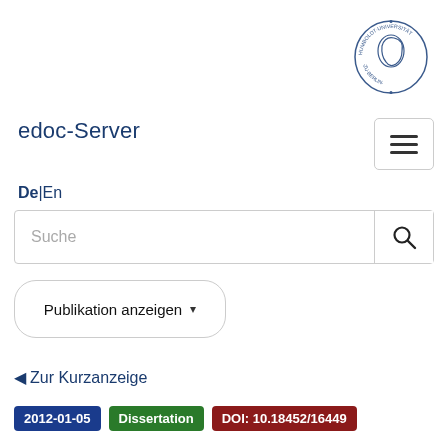[Figure (logo): Humboldt-Universität zu Berlin circular logo with profile illustration]
edoc-Server
[Figure (other): Hamburger menu button (three horizontal lines)]
De|En
[Figure (other): Search bar with placeholder text 'Suche' and a search icon button]
Publikation anzeigen ▾
◄ Zur Kurzanzeige
2012-01-05  Dissertation  DOI: 10.18452/16449